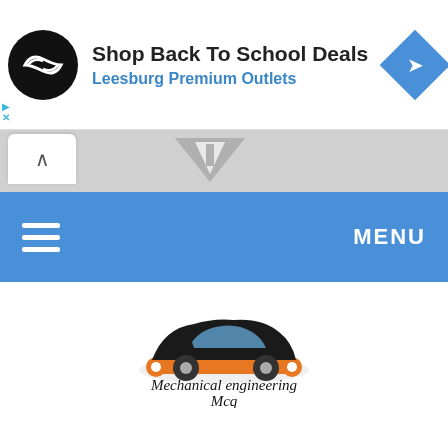[Figure (screenshot): Advertisement banner: black circular logo with infinity-like symbol, text 'Shop Back To School Deals' in bold black, 'Leesburg Premium Outlets' in blue, and a blue diamond navigation icon on the right.]
[Figure (screenshot): Navigation/road stripe with a white up-arrow tab button on the left and road warning triangle icons on grey background.]
[Figure (screenshot): Blue horizontal menu bar with white hamburger icon on the left and MENU text on the right.]
[Figure (logo): Mechanical Engineering Mcq logo: a sports car silhouette above an orange wrench, with handwritten-style text 'Mechanical engineering Mcq' below.]